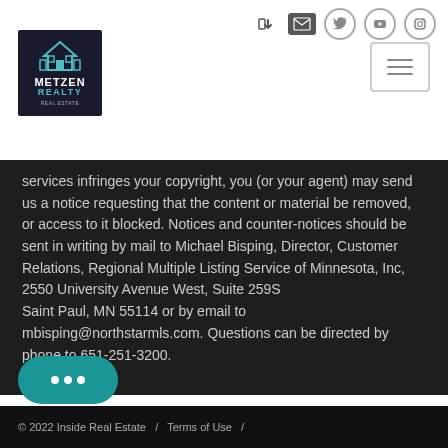[Figure (logo): Metzen Realty logo: dark navy square with teal house icon and white/teal text]
services infringes your copyright, you (or your agent) may send us a notice requesting that the content or material be removed, or access to it blocked. Notices and counter-notices should be sent in writing by mail to Michael Bisping, Director, Customer Relations, Regional Multiple Listing Service of Minnesota, Inc, 2550 University Avenue West, Suite 259S Saint Paul, MN 55114 or by email to mbisping@northstarmls.com. Questions can be directed by phone to 651-251-3200.
© 2022 Inside Real Estate  /  Terms of Use  /